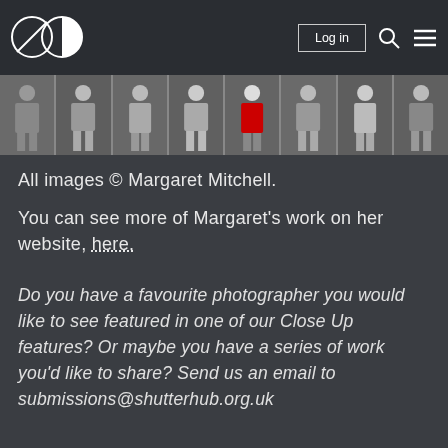Log in
[Figure (photo): Horizontal strip of 8 photographs showing people standing full-length against a dark curtained background]
All images © Margaret Mitchell.
You can see more of Margaret's work on her website, here.
Do you have a favourite photographer you would like to see featured in one of our Close Up features? Or maybe you have a series of work you'd like to share? Send us an email to submissions@shutterhub.org.uk